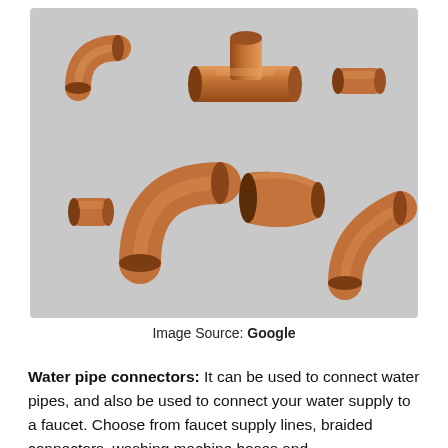[Figure (photo): A photograph of multiple copper pipe fittings and connectors arranged on a light grey background. The fittings include a T-connector, elbow bends (45° and 90°), a reducer/coupling, and short straight couplings, all made of copper.]
Image Source: Google
Water pipe connectors: It can be used to connect water pipes, and also be used to connect your water supply to a faucet. Choose from faucet supply lines, braided connectors, washing machine hoses and